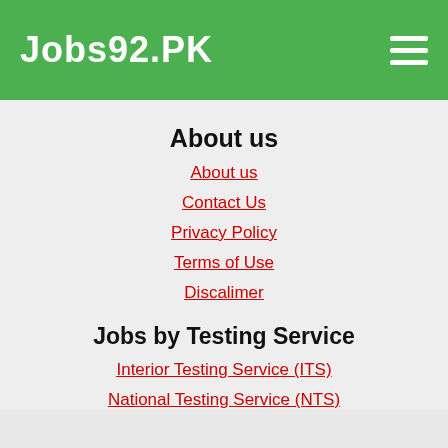Jobs92.PK
About us
About us
Contact Us
Privacy Policy
Terms of Use
Discalimer
Jobs by Testing Service
Interior Testing Service (ITS)
National Testing Service (NTS)